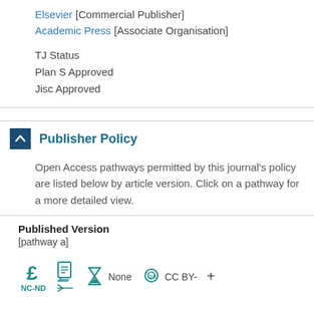Elsevier [Commercial Publisher]
Academic Press [Associate Organisation]
TJ Status
Plan S Approved
Jisc Approved
Publisher Policy
Open Access pathways permitted by this journal's policy are listed below by article version. Click on a pathway for a more detailed view.
Published Version
[pathway a]
[Figure (infographic): Row of icons: pound sign (£) with label NC-ND, document with lines icon, hourglass icon with label None, key/lock icon with label CC BY-, plus sign]